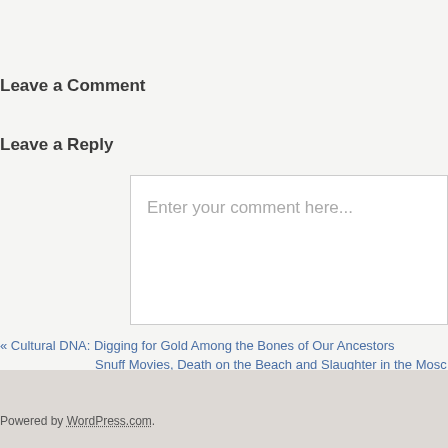Leave a Comment
Leave a Reply
Enter your comment here...
« Cultural DNA: Digging for Gold Among the Bones of Our Ancestors
Snuff Movies, Death on the Beach and Slaughter in the Mosc
Powered by WordPress.com.